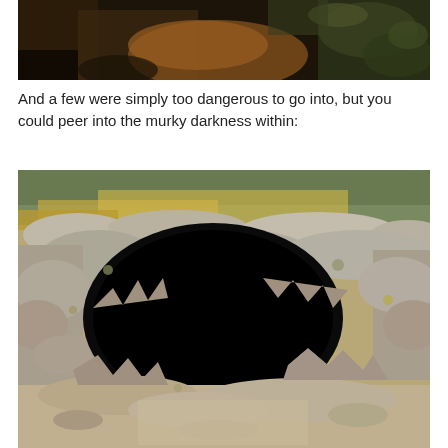[Figure (photo): Partial top photo showing dark reddish-brown and rocky texture, appears to be a cave or rock surface viewed from above, cropped at bottom]
And a few were simply too dangerous to go into, but you could peer into the murky darkness within:
[Figure (photo): Outdoor photo of a rocky cave entrance or lava tube opening viewed from above. Dry golden grass and pale grey volcanic rocks surround a dark black void opening in the ground. Sandy/rocky terrain visible around the cave entrance.]